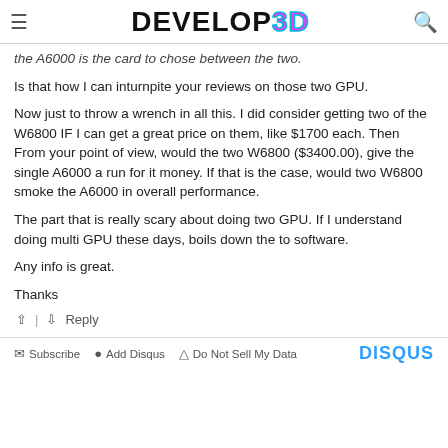DEVELOP3D
the A6000 is the card to chose between the two.
Is that how I can inturnpite your reviews on those two GPU.
Now just to throw a wrench in all this. I did consider getting two of the W6800 IF I can get a great price on them, like $1700 each. Then From your point of view, would the two W6800 ($3400.00), give the single A6000 a run for it money. If that is the case, would two W6800 smoke the A6000 in overall performance.
The part that is really scary about doing two GPU. If I understand doing multi GPU these days, boils down the to software.
Any info is great.
Thanks
Reply
Subscribe  Add Disqus  Do Not Sell My Data  DISQUS